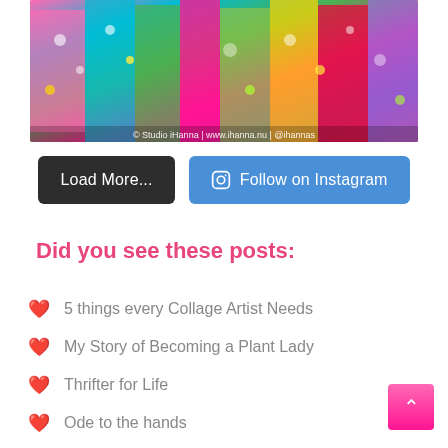[Figure (photo): Colorful art journal spread with vibrant mixed media painting, watermark reading '© Studio iHanna | www.ihanna.nu | @ihannas']
Load More...
Follow on Instagram
Did you see these posts:
5 things every Collage Artist Needs
My Story of Becoming a Plant Lady
Thrifter for Life
Ode to the hands
Creating textile book pages